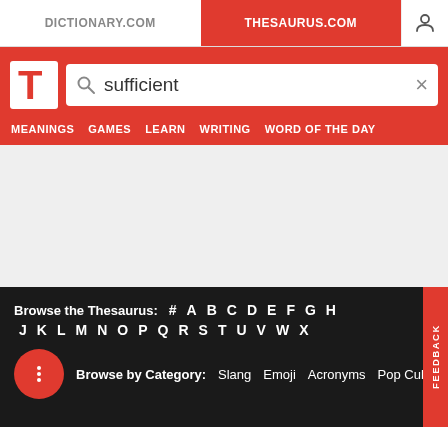DICTIONARY.COM | THESAURUS.COM
[Figure (screenshot): Thesaurus.com website header with logo and search bar showing 'sufficient']
MEANINGS   GAMES   LEARN   WRITING   WORD OF THE DAY
Browse the Thesaurus: # A B C D E F G H J K L M N O P Q R S T U V W X
Browse by Category: Slang   Emoji   Acronyms   Pop Culture